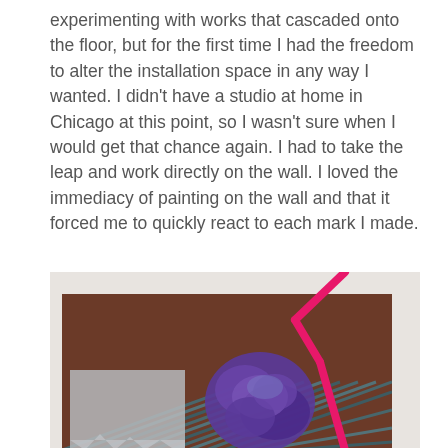experimenting with works that cascaded onto the floor, but for the first time I had the freedom to alter the installation space in any way I wanted. I didn't have a studio at home in Chicago at this point, so I wasn't sure when I would get that chance again. I had to take the leap and work directly on the wall. I loved the immediacy of painting on the wall and that it forced me to quickly react to each mark I made.
[Figure (photo): Photograph of an abstract artwork on a wall: a brown rectangular canvas with a silver/grey square layered on lower left, a purple textured sculptural mass in the center, diagonal teal/blue stripes in the lower portion, and a bright magenta/pink angular line element that extends off the canvas onto the white wall above.]